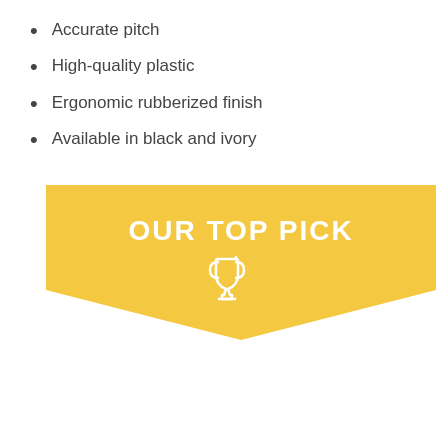Accurate pitch
High-quality plastic
Ergonomic rubberized finish
Available in black and ivory
[Figure (infographic): A golden banner with 'OUR TOP PICK' text in white bold letters and a white trophy icon below on a yellow-gold background with a V-shaped bottom edge pointing downward.]